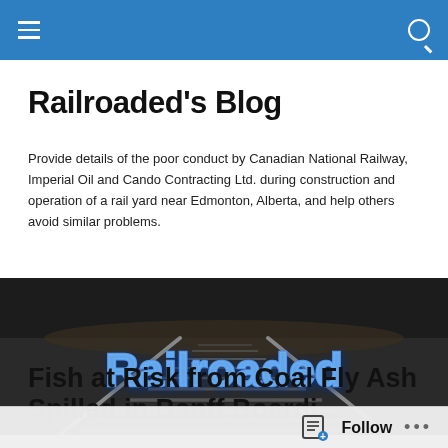Navigation bar with hamburger menu and search icon
Railroaded's Blog
Provide details of the poor conduct by Canadian National Railway, Imperial Oil and Cando Contracting Ltd. during construction and operation of a rail yard near Edmonton, Alberta, and help others avoid similar problems.
[Figure (photo): Dark photo of railroad tracks receding into the distance with the text 'Railroaded' overlaid in blue 3D letters]
Fish at Risk from Coal Fly Ash Spilled in Banff Boardin…
Follow